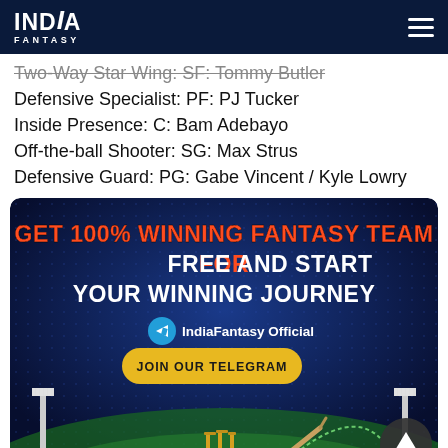India Fantasy
Two-Way Star Wing: SF: Tommy Butler
Defensive Specialist: PF: PJ Tucker
Inside Presence: C: Bam Adebayo
Off-the-ball Shooter: SG: Max Strus
Defensive Guard: PG: Gabe Vincent / Kyle Lowry
[Figure (infographic): India Fantasy advertisement banner with dark blue background showing 'GET 100% WINNING FANTASY TEAM FOR FREE AND START YOUR WINNING JOURNEY' text in red/white, Telegram join button, IndiaFantasy Official branding, and cricket stadium illustration at the bottom with cricket stumps and bats.]